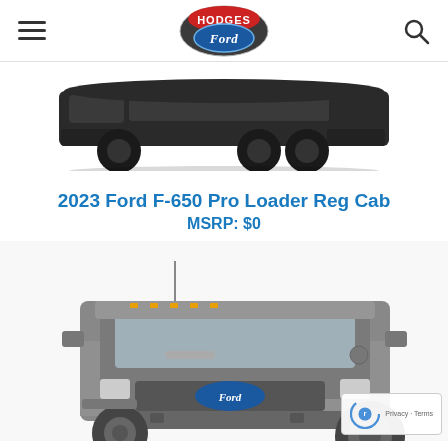Hodges Ford (logo)
[Figure (photo): Dark silhouette side-view of a large commercial truck/bus vehicle against white background]
2023 Ford F-650 Pro Loader Reg Cab
MSRP: $0
[Figure (photo): Front three-quarter view of a gray 2023 Ford F-650 Pro Loader Reg Cab commercial truck chassis cab, showing the Ford grille badge, dual front wheels, and cab structure]